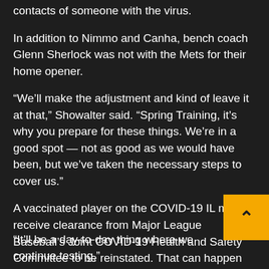contacts of someone with the virus.
In addition to Nimmo and Canha, bench coach Glenn Sherlock was not with the Mets for their home opener.
“We’ll make the adjustment and kind of leave it at that,” Showalter said. “Spring Training, it’s why you prepare for these things. We’re in a good spot — not as good as we would have been, but we’ve taken the necessary steps to cover us.”
A vaccinated player on the COVID-19 IL must receive clearance from Major League Baseball’s Joint COVID-19 Health and Safety Committee to be reinstated. That can happen as soon as the player is no longer deemed infectious. Unvaccinated players cannot return until they submit two negative PCR tests.
Neither Nimmo nor Canha has stated publicly if he is vaccinated.
“It’ll be a day-to-day thing where we continue testing,”